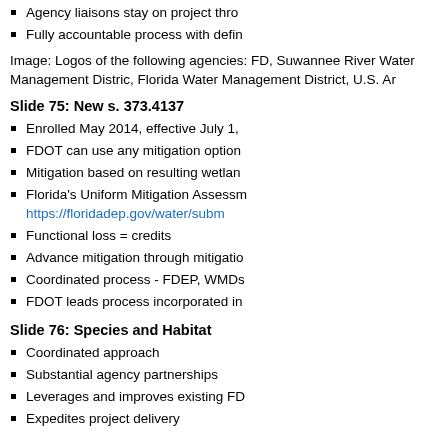Agency liaisons stay on project thro
Fully accountable process with defin
Image: Logos of the following agencies: FD, Suwannee River Water Management Distric, Florida Water Management District, U.S. Ar
Slide 75: New s. 373.4137
Enrolled May 2014, effective July 1,
FDOT can use any mitigation option
Mitigation based on resulting wetlan
Florida's Uniform Mitigation Assessm https://floridadep.gov/water/subm
Functional loss = credits
Advance mitigation through mitigatio
Coordinated process - FDEP, WMDs
FDOT leads process incorporated in
Slide 76: Species and Habitat
Coordinated approach
Substantial agency partnerships
Leverages and improves existing FD
Expedites project delivery